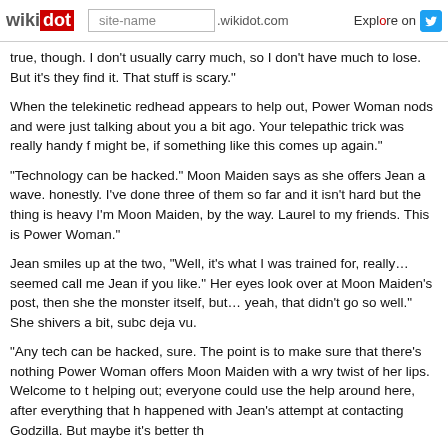wikidot | site-name .wikidot.com | Explore | Share on [Twitter]
true, though. I don't usually carry much, so I don't have much to lose. But it's they find it. That stuff is scary."
When the telekinetic redhead appears to help out, Power Woman nods and were just talking about you a bit ago. Your telepathic trick was really handy f might be, if something like this comes up again."
"Technology can be hacked." Moon Maiden says as she offers Jean a wave. honestly. I've done three of them so far and it isn't hard but the thing is heavy I'm Moon Maiden, by the way. Laurel to my friends. This is Power Woman."
Jean smiles up at the two, "Well, it's what I was trained for, really… seemed call me Jean if you like." Her eyes look over at Moon Maiden's post, then sh the monster itself, but… yeah, that didn't go so well." She shivers a bit, subc deja vu.
"Any tech can be hacked, sure. The point is to make sure that there's nothing Power Woman offers Moon Maiden with a wry twist of her lips. Welcome to t helping out; everyone could use the help around here, after everything that h happened with Jean's attempt at contacting Godzilla. But maybe it's better th
"I'm glad you're alright." Laurel doesn't understand telepathy either but she i science fiction stories to have an inkling. "So, we were debating." She says a the whole thing upright but rather holding it in place while the workers… wor
Jean considers for a moment, "Yes, I think so. I didn't have much contact wit was hoping we would have had more of a chance to talk after, but it was con